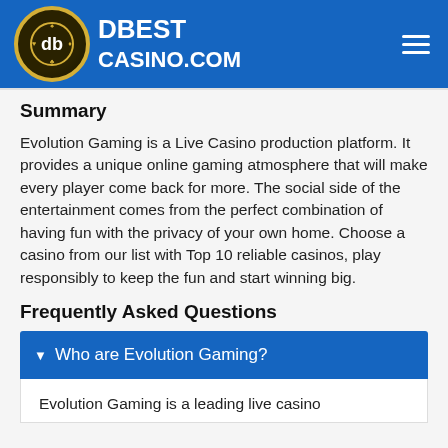DBEST CASINO.COM
Summary
Evolution Gaming is a Live Casino production platform. It provides a unique online gaming atmosphere that will make every player come back for more. The social side of the entertainment comes from the perfect combination of having fun with the privacy of your own home. Choose a casino from our list with Top 10 reliable casinos, play responsibly to keep the fun and start winning big.
Frequently Asked Questions
Who are Evolution Gaming?
Evolution Gaming is a leading live casino